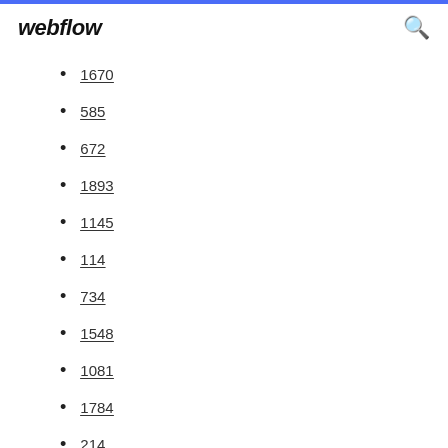webflow
1670
585
672
1893
1145
114
734
1548
1081
1784
214
1593
1185